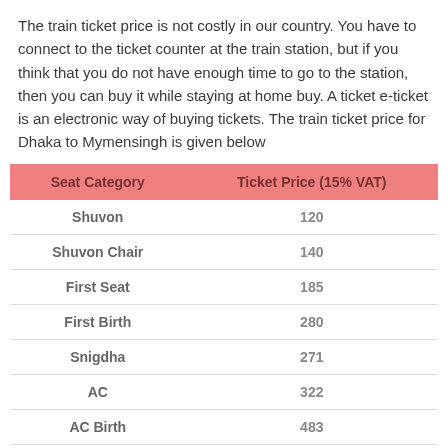The train ticket price is not costly in our country. You have to connect to the ticket counter at the train station, but if you think that you do not have enough time to go to the station, then you can buy it while staying at home buy. A ticket e-ticket is an electronic way of buying tickets. The train ticket price for Dhaka to Mymensingh is given below
| Seat Category | Ticket Price (15% VAT) |
| --- | --- |
| Shuvon | 120 |
| Shuvon Chair | 140 |
| First Seat | 185 |
| First Birth | 280 |
| Snigdha | 271 |
| AC | 322 |
| AC Birth | 483 |